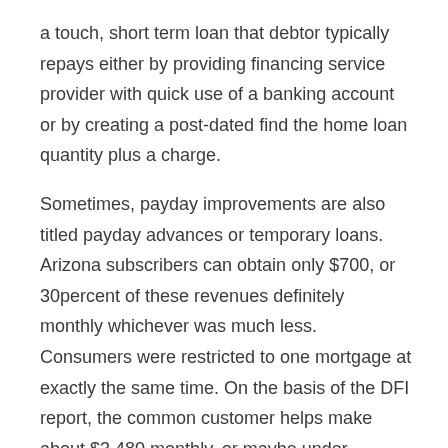a touch, short term loan that debtor typically repays either by providing financing service provider with quick use of a banking account or by creating a post-dated find the home loan quantity plus a charge.
Sometimes, payday improvements are also titled payday advances or temporary loans. Arizona subscribers can obtain only $700, or 30percent of these revenues definitely monthly whichever was much less. Consumers were restricted to one mortgage at exactly the same time. On the basis of the DFI report, the common customer helps make about $3,480 monthly, or maybe under $42,000 per year.
Cindy Fazio, manager connected with buyer solutions unit of DFI, states she needs next year???,a„?s document will reveal a reverse in connection with trend as more customers injured financially due to the pandemic find payday progress.